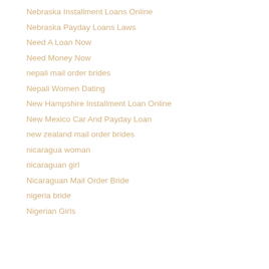Nebraska Installment Loans Online
Nebraska Payday Loans Laws
Need A Loan Now
Need Money Now
nepali mail order brides
Nepali Women Dating
New Hampshire Installment Loan Online
New Mexico Car And Payday Loan
new zealand mail order brides
nicaragua woman
nicaraguan girl
Nicaraguan Mail Order Bride
nigeria bride
Nigerian Girls